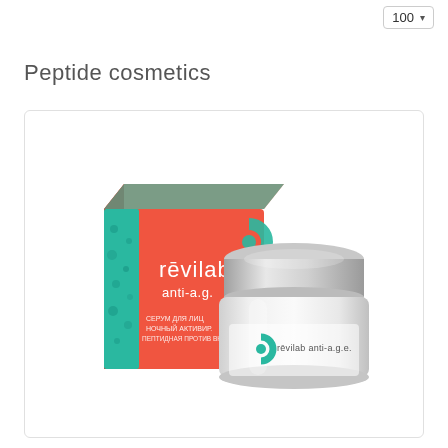100
Peptide cosmetics
[Figure (photo): Product photo showing Revilab anti-a.g.e. cosmetic cream jar (silver/chrome container) beside its orange and teal/green retail box with Cyrillic text, on white background inside a card with rounded border.]